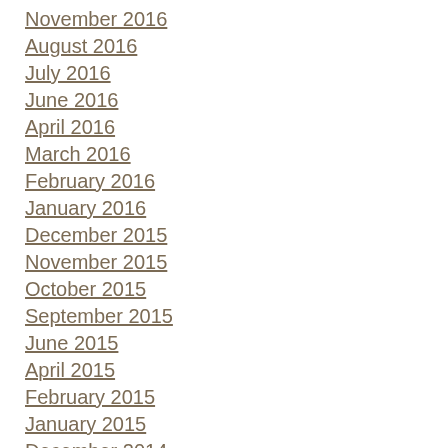November 2016
August 2016
July 2016
June 2016
April 2016
March 2016
February 2016
January 2016
December 2015
November 2015
October 2015
September 2015
June 2015
April 2015
February 2015
January 2015
December 2014
November 2014
October 2014